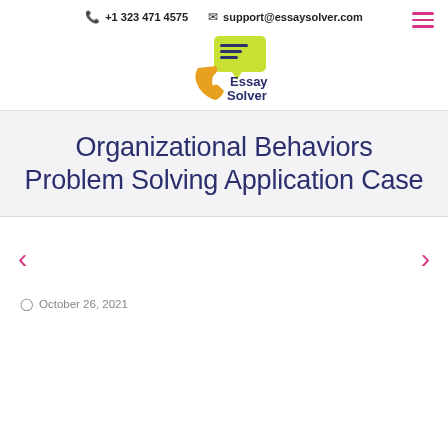📞 +1 323 471 4575  ✉ support@essaysolver.com
[Figure (logo): Essay Solver logo with phone and chat bubble icons]
Organizational Behaviors Problem Solving Application Case
October 26, 2021